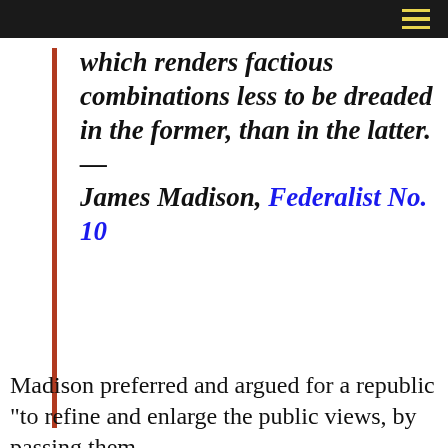which renders factious combinations less to be dreaded in the former, than in the latter. — James Madison, Federalist No. 10
Madison preferred and argued for a republic “to refine and enlarge the public views, by passing them